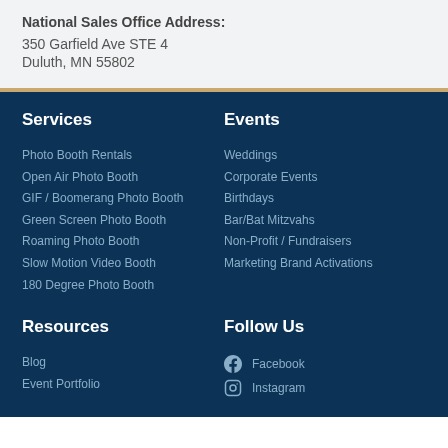National Sales Office Address:
350 Garfield Ave STE 4
Duluth, MN 55802
Services
Photo Booth Rentals
Open Air Photo Booth
GIF / Boomerang Photo Booth
Green Screen Photo Booth
Roaming Photo Booth
Slow Motion Video Booth
180 Degree Photo Booth
Events
Weddings
Corporate Events
Birthdays
Bar/Bat Mitzvahs
Non-Profit / Fundraisers
Marketing Brand Activations
Resources
Blog
Event Portfolio
Follow Us
Facebook
Instagram